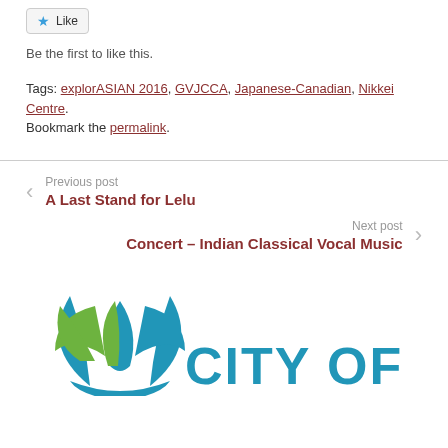[Figure (other): Like button with star icon]
Be the first to like this.
Tags: explorASIAN 2016, GVJCCA, Japanese-Canadian, Nikkei Centre.
Bookmark the permalink.
Previous post
A Last Stand for Lelu
Next post
Concert – Indian Classical Vocal Music
[Figure (logo): City of [Vancouver] logo with blue and green lotus flower graphic and text CITY OF]